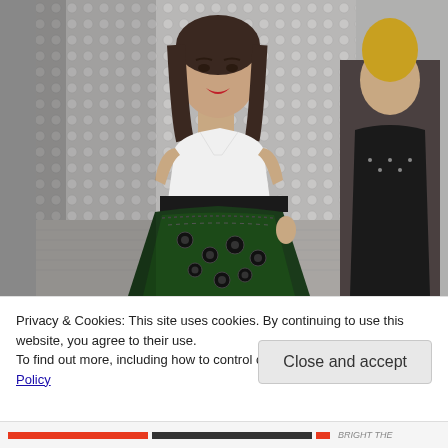[Figure (photo): Fashion runway photo showing two models. The main model in the foreground wears a white racerback top and a voluminous dark green skirt with circular cutouts/grommets and black trim. A second model in the background wears a black dress with studded details. The background shows a textured metallic/diamond pattern backdrop.]
Privacy & Cookies: This site uses cookies. By continuing to use this website, you agree to their use.
To find out more, including how to control cookies, see here: Cookie Policy